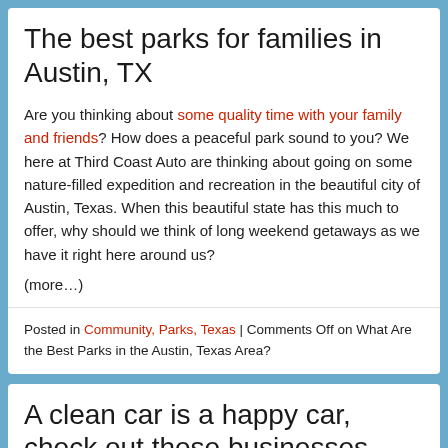The best parks for families in Austin, TX
Are you thinking about some quality time with your family and friends? How does a peaceful park sound to you? We here at Third Coast Auto are thinking about going on some nature-filled expedition and recreation in the beautiful city of Austin, Texas. When this beautiful state has this much to offer, why should we think of long weekend getaways as we have it right here around us?
(more…)
Posted in Community, Parks, Texas | Comments Off on What Are the Best Parks in the Austin, Texas Area?
A clean car is a happy car, check out these businesses
Thursday, April 15th, 2021